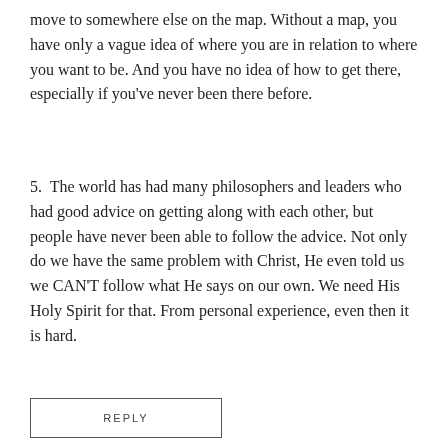move to somewhere else on the map. Without a map, you have only a vague idea of where you are in relation to where you want to be. And you have no idea of how to get there, especially if you've never been there before.
5.  The world has had many philosophers and leaders who had good advice on getting along with each other, but people have never been able to follow the advice. Not only do we have the same problem with Christ, He even told us we CAN'T follow what He says on our own. We need His Holy Spirit for that. From personal experience, even then it is hard.
REPLY